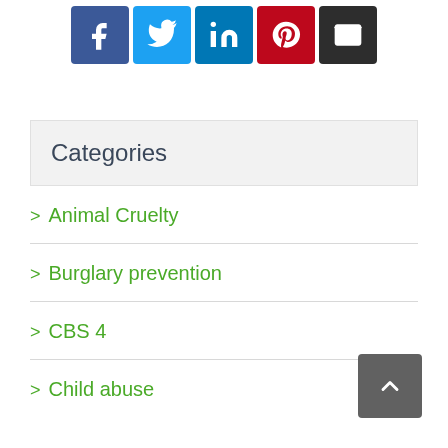[Figure (infographic): Social media share buttons: Facebook (blue), Twitter (light blue), LinkedIn (blue), Pinterest (red), Email (black)]
Categories
Animal Cruelty
Burglary prevention
CBS 4
Child abuse